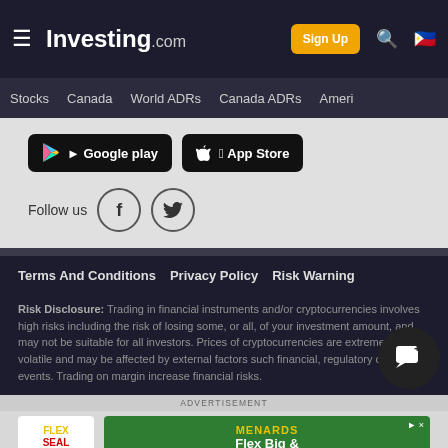Investing.com — Sign Up
Stocks | Canada | World ADRs | Canada ADRs | Ameri
[Figure (screenshot): Google Play and App Store download buttons on dark background]
Follow us
Terms And Conditions   Privacy Policy   Risk Warning
Risk Disclosure: Trading in financial instruments and/or cryptocurrencies involves high risks including the risk of losing some, or all, of your investment amount, and may not be suitable for all investors. Prices of cryptocurrencies are extremely volatile and may be affected by external factors such financial, regulatory or political events. Trading on margin increase financial risks.
ADVERTISEMENT
[Figure (illustration): Flex Seal / Menards advertisement banner: Flex Big & Save Big.]